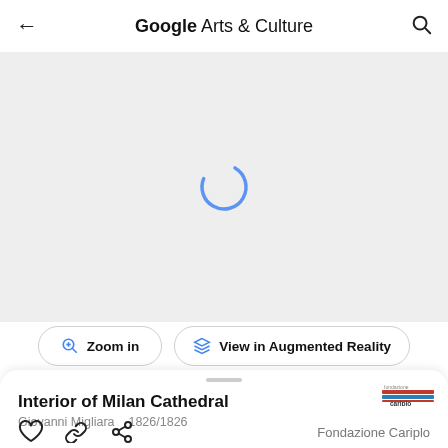Google Arts & Culture
[Figure (screenshot): Loading spinner (blue arc circle) on light grey background, indicating image is loading]
Zoom in   View in Augmented Reality
Interior of Milan Cathedral
Giovanni Migliara   1826/1826
[Figure (logo): Fondazione Cariplo small logo (red/blue striped)]
Fondazione Cariplo